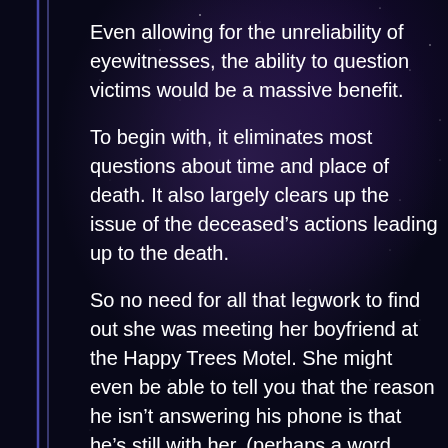Even allowing for the unreliability of eyewitnesses, the ability to question victims would be a massive benefit.
To begin with, it eliminates most questions about time and place of death. It also largely clears up the issue of the deceased's actions leading up to the death.
So no need for all that legwork to find out she was meeting her boyfriend at the Happy Trees Motel. She might even be able to tell you that the reason he isn't answering his phone is that he's still with her, (perhaps a word should be had with the husband).